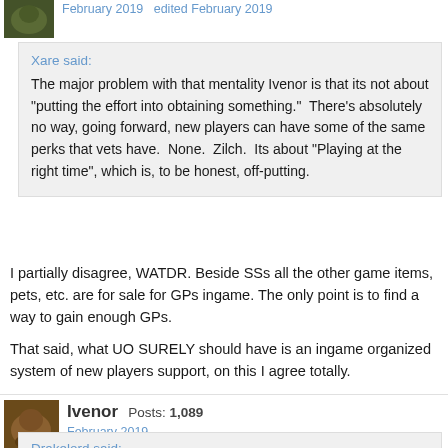February 2019   edited February 2019
Xare said:
The major problem with that mentality Ivenor is that its not about "putting the effort into obtaining something."  There's absolutely no way, going forward, new players can have some of the same perks that vets have.  None.  Zilch.  Its about "Playing at the right time", which is, to be honest, off-putting.
I partially disagree, WATDR. Beside SSs all the other game items, pets, etc. are for sale for GPs ingame. The only point is to find a way to gain enough GPs.
That said, what UO SURELY should have is an ingame organized system of new players support, on this I agree totally.
Ivenor  Posts: 1,089
February 2019
Drakelord said: